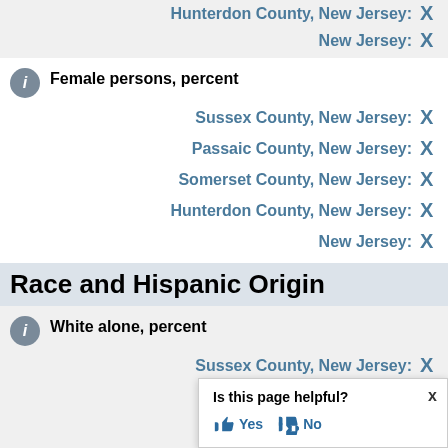Hunterdon County, New Jersey: X
New Jersey: X
Female persons, percent
Sussex County, New Jersey: X
Passaic County, New Jersey: X
Somerset County, New Jersey: X
Hunterdon County, New Jersey: X
New Jersey: X
Race and Hispanic Origin
White alone, percent
Sussex County, New Jersey: X
Passaic County, New Jersey: X
Somerset County, New Jersey: X